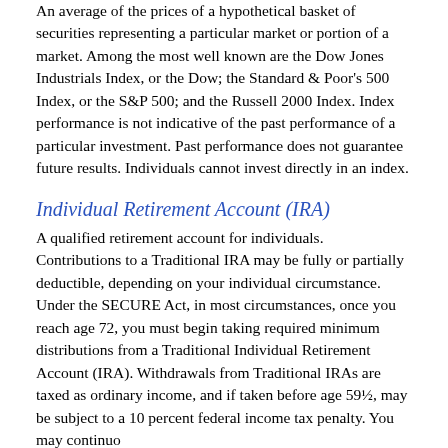An average of the prices of a hypothetical basket of securities representing a particular market or portion of a market. Among the most well known are the Dow Jones Industrials Index, or the Dow; the Standard & Poor's 500 Index, or the S&P 500; and the Russell 2000 Index. Index performance is not indicative of the past performance of a particular investment. Past performance does not guarantee future results. Individuals cannot invest directly in an index.
Individual Retirement Account (IRA)
A qualified retirement account for individuals. Contributions to a Traditional IRA may be fully or partially deductible, depending on your individual circumstance. Under the SECURE Act, in most circumstances, once you reach age 72, you must begin taking required minimum distributions from a Traditional Individual Retirement Account (IRA). Withdrawals from Traditional IRAs are taxed as ordinary income, and if taken before age 59½, may be subject to a 10 percent federal income tax penalty. You may continuo